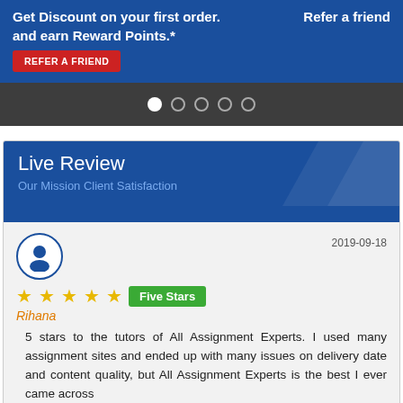Get Discount on your first order. Refer a friend and earn Reward Points.* REFER A FRIEND
[Figure (other): Carousel slider navigation dots, one filled white and four outlined, on dark gray background]
Live Review
Our Mission Client Satisfaction
2019-09-18
Five Stars
Rihana
5 stars to the tutors of All Assignment Experts. I used many assignment sites and ended up with many issues on delivery date and content quality, but All Assignment Experts is the best I ever came across